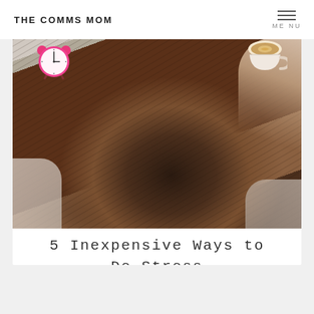THE COMMS MOM
[Figure (photo): Overhead view of a woman lying down with her long brown hair spread out. A pink alarm clock is visible in the top-left, a coffee cup with latte art in the top-right, and a hand/arm reaching toward the cup.]
5 Inexpensive Ways to De-Stress